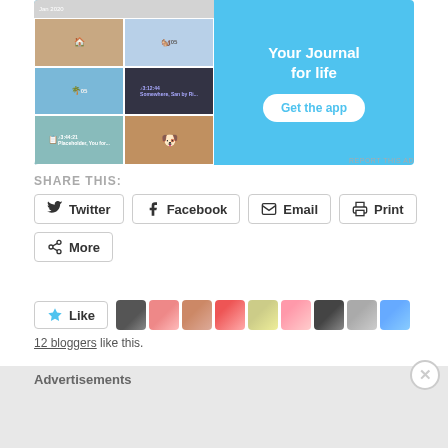[Figure (screenshot): App advertisement banner with phone screenshot showing photo journal app grid and text 'Your Journal for life' with 'Get the app' button on sky blue background]
REPORT THIS AD
SHARE THIS:
[Figure (infographic): Social sharing buttons: Twitter, Facebook, Email, Print, More]
[Figure (infographic): Like button with star icon and 9 blogger avatar thumbnails]
12 bloggers like this.
Advertisements
[Figure (screenshot): WordPress hosting advertisement banner: 'WORDPRESS HOSTING THAT MEANS BUSINESS.' with P logo and open sign photo]